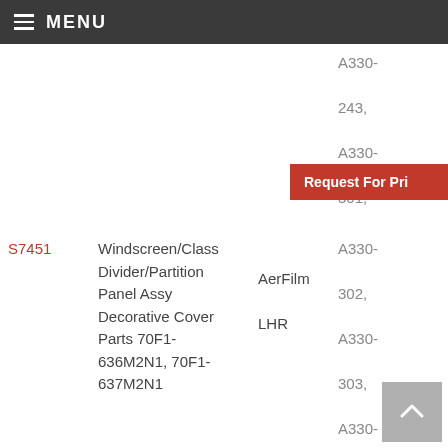MENU
| Part # | Description | Manufacturer | Aircraft |
| --- | --- | --- | --- |
| S7451 | Windscreen/Class Divider/Partition Panel Assy Decorative Cover Parts 70F1-636M2N1, 70F1-637M2N1 | AerFilm LHR | A330-243, A330-301, A330-302, A330-303, A330-321, A330-322, A330-323, A330- |